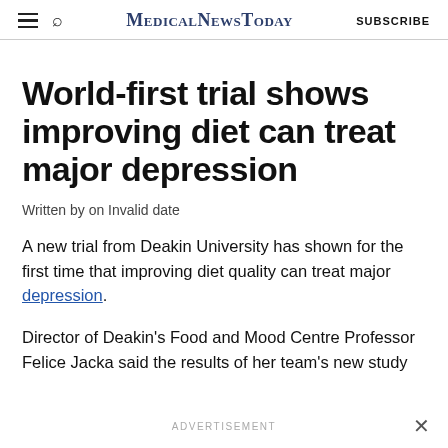MedicalNewsToday | SUBSCRIBE
World-first trial shows improving diet can treat major depression
Written by on Invalid date
A new trial from Deakin University has shown for the first time that improving diet quality can treat major depression.
Director of Deakin's Food and Mood Centre Professor Felice Jacka said the results of her team's new study